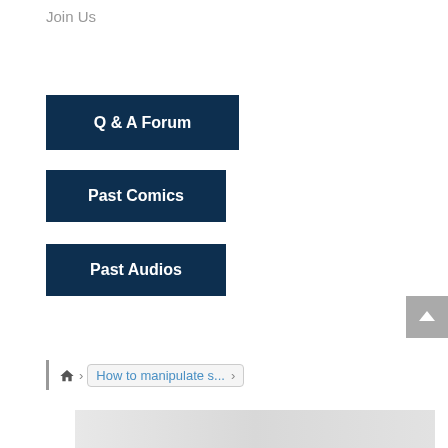Join Us
[Figure (screenshot): Navigation button: Q & A Forum on dark navy background]
[Figure (screenshot): Navigation button: Past Comics on dark navy background]
[Figure (screenshot): Navigation button: Past Audios on dark navy background]
[Figure (screenshot): Scroll-to-top button with caret icon, gray background]
How to manipulate s...